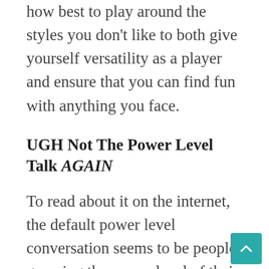You can always challenge yourself to learn how best to play around the styles you don't like to both give yourself versatility as a player and ensure that you can find fun with anything you face.
UGH Not The Power Level Talk AGAIN
To read about it on the internet, the default power level conversation seems to be people guessing the power level of their decks on a 1 to 10 scale where everyone says they're a 7, and everyone is wrong. While it seems to be an easily...